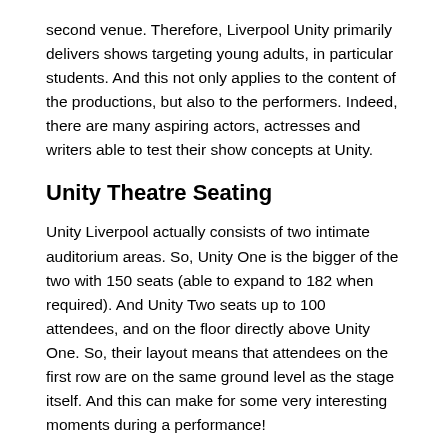second venue. Therefore, Liverpool Unity primarily delivers shows targeting young adults, in particular students. And this not only applies to the content of the productions, but also to the performers. Indeed, there are many aspiring actors, actresses and writers able to test their show concepts at Unity.
Unity Theatre Seating
Unity Liverpool actually consists of two intimate auditorium areas. So, Unity One is the bigger of the two with 150 seats (able to expand to 182 when required). And Unity Two seats up to 100 attendees, and on the floor directly above Unity One. So, their layout means that attendees on the first row are on the same ground level as the stage itself. And this can make for some very interesting moments during a performance!